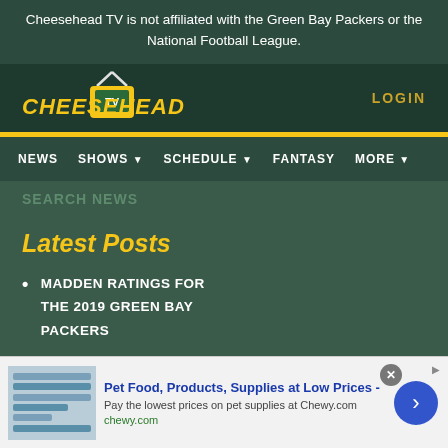Cheesehead TV is not affiliated with the Green Bay Packers or the National Football League.
[Figure (logo): Cheesehead TV logo with yellow stylized text and TV icon]
LOGIN
NEWS  SHOWS  SCHEDULE  FANTASY  MORE
SEARCH NEWS (partially visible)
Latest Posts
MADDEN RATINGS FOR THE 2019 GREEN BAY PACKERS
[Figure (other): Advertisement banner for Chewy.com - Pet Food, Products, Supplies at Low Prices]